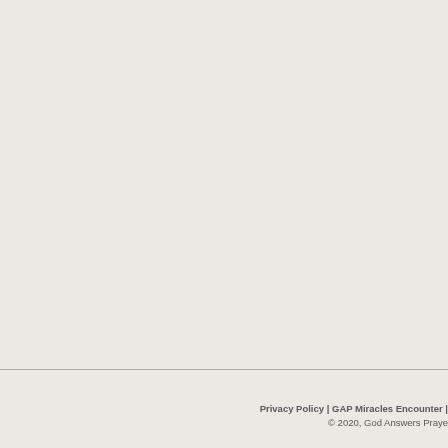Privacy Policy | GAP Miracles Encounter |
© 2020, God Answers Praye